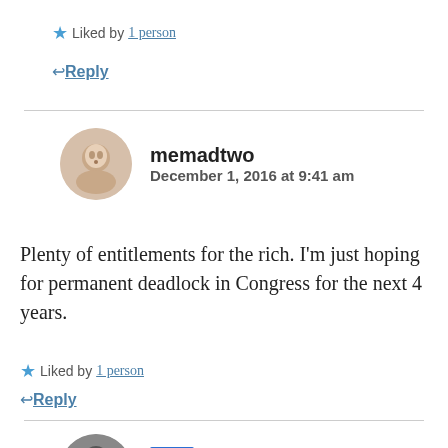★ Liked by 1 person
↩ Reply
memadtwo — December 1, 2016 at 9:41 am
Plenty of entitlements for the rich. I'm just hoping for permanent deadlock in Congress for the next 4 years.
★ Liked by 1 person
↩ Reply
MK — December 1, 2016 at 9:46 am